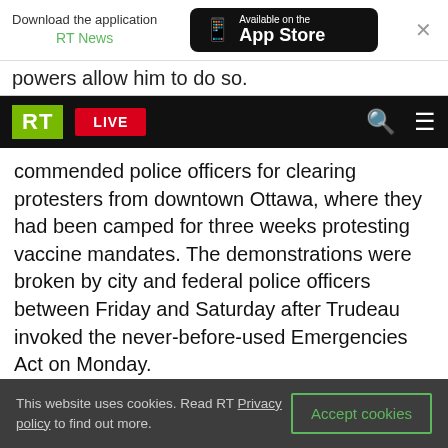[Figure (screenshot): App Store download banner with RT News app promotion and close button]
powers allow him to do so.
[Figure (screenshot): RT website navigation bar with green RT logo, red LIVE button, search and menu icons]
commended police officers for clearing protesters from downtown Ottawa, where they had been camped for three weeks protesting vaccine mandates. The demonstrations were broken by city and federal police officers between Friday and Saturday after Trudeau invoked the never-before-used Emergencies Act on Monday.
Despite video footage showing shocking scenes of police brutality, Watson said that officers had “done a remarkable job,” and were “very measured in
This website uses cookies. Read RT Privacy policy to find out more.